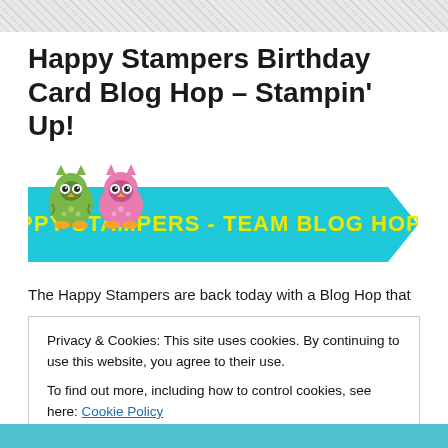Happy Stampers Birthday Card Blog Hop – Stampin' Up!
[Figure (logo): Happy Stampers Team Blog Hop banner with two cartoon owls (green and pink) above a teal/cyan ribbon banner reading 'HAPPY STAMPERS - TEAM BLOG HOP' in yellow bold text]
The Happy Stampers are back today with a Blog Hop that
Privacy & Cookies: This site uses cookies. By continuing to use this website, you agree to their use.
To find out more, including how to control cookies, see here: Cookie Policy
Close and accept